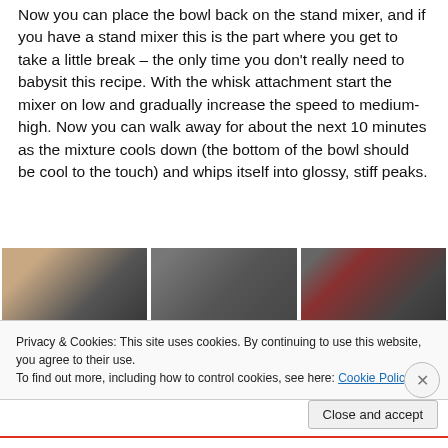Now you can place the bowl back on the stand mixer, and if you have a stand mixer this is the part where you get to take a little break – the only time you don't really need to babysit this recipe. With the whisk attachment start the mixer on low and gradually increase the speed to medium-high. Now you can walk away for about the next 10 minutes as the mixture cools down (the bottom of the bowl should be cool to the touch) and whips itself into glossy, stiff peaks.
[Figure (photo): Three side-by-side photos showing mixing bowl and stand mixer process steps]
Privacy & Cookies: This site uses cookies. By continuing to use this website, you agree to their use.
To find out more, including how to control cookies, see here: Cookie Policy
Close and accept